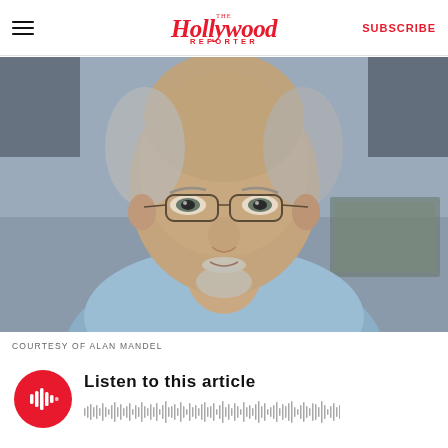The Hollywood Reporter — SUBSCRIBE
[Figure (photo): Portrait photo of an elderly man with white hair and a goatee, wearing glasses and a light blue denim shirt, looking directly at the camera. Indoor background slightly blurred.]
COURTESY OF ALAN MANDEL
[Figure (infographic): Audio player widget with a red circular play button showing sound wave bars icon, text 'Listen to this article', and an audio waveform progress bar beneath.]